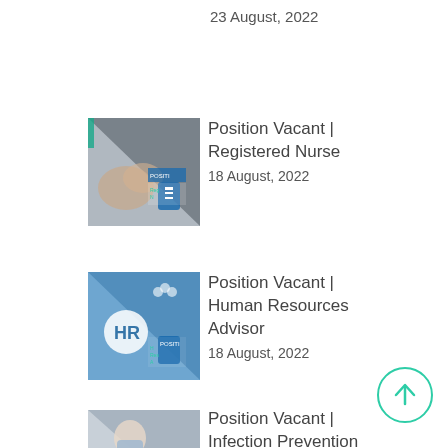23 August, 2022
[Figure (photo): Thumbnail image for Position Vacant Registered Nurse listing, showing hands and medical imagery with overlay text]
Position Vacant | Registered Nurse
18 August, 2022
[Figure (photo): Thumbnail image for Position Vacant Human Resources Advisor listing, showing HR concept with blue background]
Position Vacant | Human Resources Advisor
18 August, 2022
[Figure (photo): Thumbnail image for Position Vacant Infection Prevention and Control Consultant listing, showing person with mask]
Position Vacant | Infection Prevention and Control Consultant